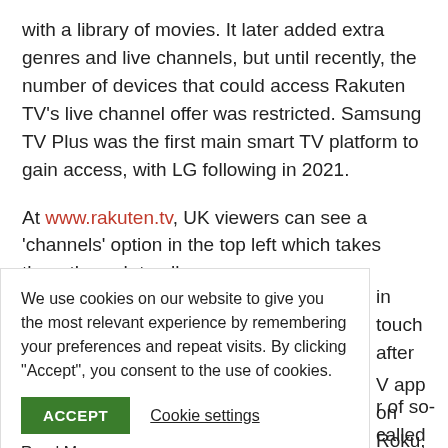with a library of movies. It later added extra genres and live channels, but until recently, the number of devices that could access Rakuten TV's live channel offer was restricted. Samsung TV Plus was the first main smart TV platform to gain access, with LG following in 2021.
At www.rakuten.tv, UK viewers can see a 'channels' option in the top left which takes them through to all
in touch after V app on Roku, el service across K.
[Figure (other): Cookie consent overlay popup with text: 'We use cookies on our website to give you the most relevant experience by remembering your preferences and repeat visits. By clicking "Accept", you consent to the use of cookies.' with an ACCEPT button (green), Cookie settings link, and Read More link.]
r of so-called nels that are ling Pluto TV,
Samsung TV Plus and Rakuten TV